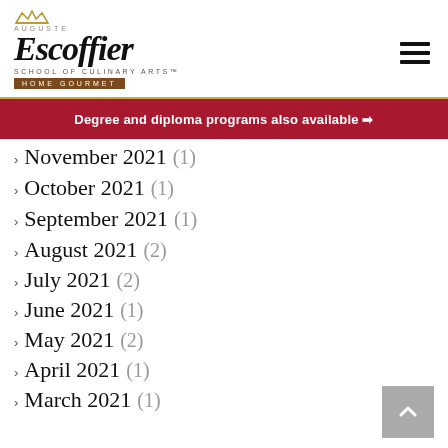[Figure (logo): Auguste Escoffier School of Culinary Arts Home Gourmet logo with crown emblem]
Degree and diploma programs also available →
› November 2021 (1)
› October 2021 (1)
› September 2021 (1)
› August 2021 (2)
› July 2021 (2)
› June 2021 (1)
› May 2021 (2)
› April 2021 (1)
› March 2021 (1)